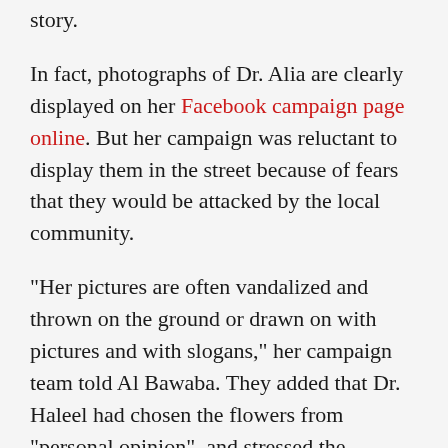story.
In fact, photographs of Dr. Alia are clearly displayed on her Facebook campaign page online. But her campaign was reluctant to display them in the street because of fears that they would be attacked by the local community.
“Her pictures are often vandalized and thrown on the ground or drawn on with pictures and with slogans," her campaign team told Al Bawaba. They added that Dr. Haleel had chosen the flowers from “personal opinion”, and stressed the importance of convincing voters through electoral programs, not scandals.